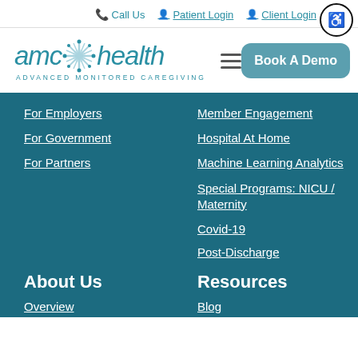Call Us  Patient Login  Client Login
[Figure (logo): AMC Health logo with snowflake/star icon. Text: amc health ADVANCED MONITORED CAREGIVING]
For Employers
For Government
For Partners
Member Engagement
Hospital At Home
Machine Learning Analytics
Special Programs: NICU / Maternity
Covid-19
Post-Discharge
About Us
Overview
Resources
Blog